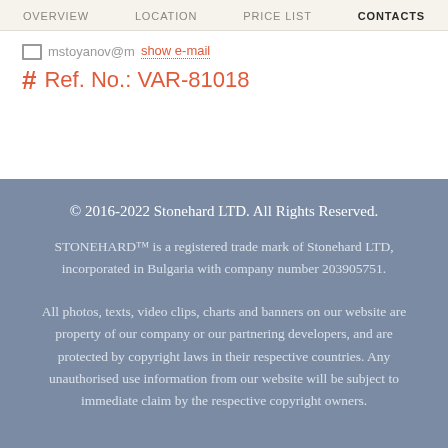OVERVIEW  LOCATION  PRICE LIST  CONTACTS
mstoyanov@m show e-mail
# Ref. No.: VAR-81018
© 2016-2022 Stonehard LTD. All Rights Reserved.
STONEHARD™ is a registered trade mark of Stonehard LTD, incorporated in Bulgaria with company number 203905751.
All photos, texts, video clips, charts and banners on our website are property of our company or our partnering developers, and are protected by copyright laws in their respective countries. Any unauthorised use information from our website will be subject to immediate claim by the respective copyright owners.